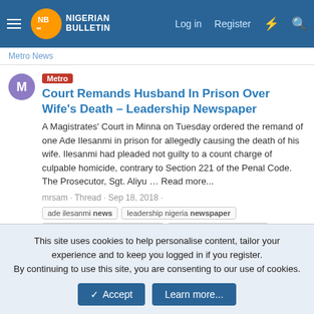Nigerian Bulletin — Log in Register
Metro News
Court Remands Husband In Prison Over Wife's Death – Leadership Newspaper
A Magistrates' Court in Minna on Tuesday ordered the remand of one Ade Ilesanmi in prison for allegedly causing the death of his wife. Ilesanmi had pleaded not guilty to a count charge of culpable homicide, contrary to Section 221 of the Penal Code. The Prosecutor, Sgt. Aliyu … Read more...
mrsam · Thread · Sep 18, 2018 ·
ade ilesanmi news
leadership nigeria newspaper
man remanded for wife's murder
naija news today 180918
nigeria crime news
nigeria metro news
nigeria police news
sgt. aliyu malami
Replies: 0 · Forum: Metro News
This site uses cookies to help personalise content, tailor your experience and to keep you logged in if you register. By continuing to use this site, you are consenting to our use of cookies.